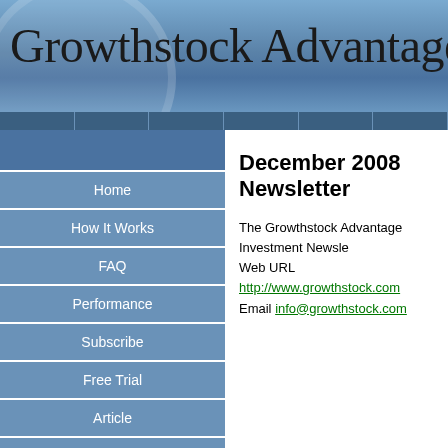Growthstock Advantage Inve
Home
How It Works
FAQ
Performance
Subscribe
Free Trial
Article
NAZ
Dow
Whats New
Market Breadth
December 2008 Newsletter
The Growthstock Advantage Investment Newsle Web URL http://www.growthstock.com Email info@growthstock.com